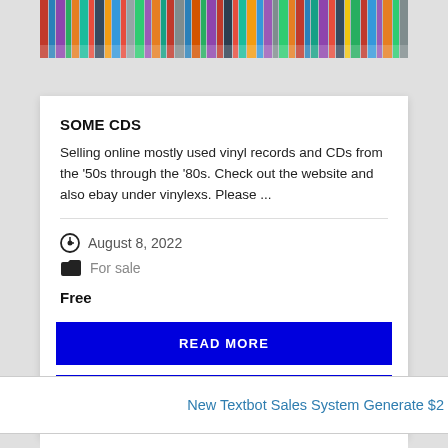[Figure (photo): Top strip showing colorful vinyl records spines crowded together on shelves, partially visible at top of card]
SOME CDS
Selling online mostly used vinyl records and CDs from the '50s through the '80s. Check out the website and also ebay under vinylexs. Please ...
August 8, 2022
For sale
Free
READ MORE
VIEW WEBSITE
New Textbot Sales System Generate $2